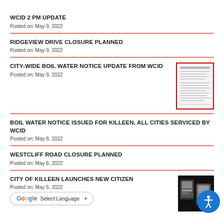WCID 2 PM UPDATE
Posted on: May 9, 2022
RIDGEVIEW DRIVE CLOSURE PLANNED
Posted on: May 9, 2022
CITY-WIDE BOIL WATER NOTICE UPDATE FROM WCID
Posted on: May 9, 2022
[Figure (other): Thumbnail of a document with text, bordered in red]
BOIL WATER NOTICE ISSUED FOR KILLEEN, ALL CITIES SERVICED BY WCID
Posted on: May 8, 2022
WESTCLIFF ROAD CLOSURE PLANNED
Posted on: May 6, 2022
CITY OF KILLEEN LAUNCHES NEW CITIZEN
Posted on: May 5, 2022
[Figure (screenshot): App screenshot thumbnail showing mobile devices]
[Figure (other): Google Translate / Select Language button overlay]
[Figure (other): Accessibility icon button (blue circle with person icon)]